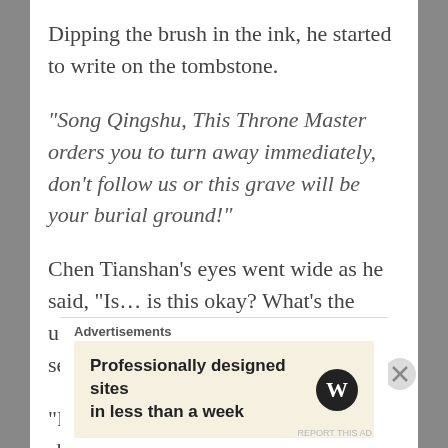Dipping the brush in the ink, he started to write on the tombstone.
“Song Qingshu, This Throne Master orders you to turn away immediately, don’t follow us or this grave will be your burial ground!”
Chen Tianshan’s eyes went wide as he said, “Is… is this okay? What’s the use?” While speaking, Chen Tianshan seemingly wanted to touch it to check.
“Don’t move!” Gu Hai burst out with a shout.
Advertisements
Professionally designed sites in less than a week